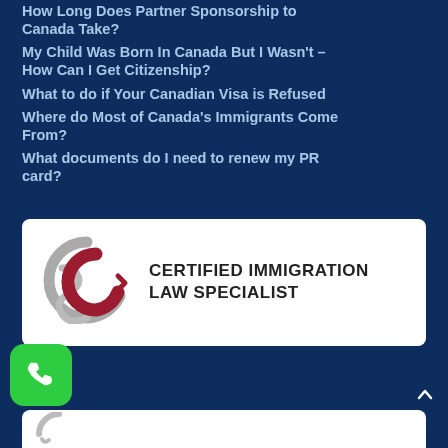How Long Does Partner Sponsorship to Canada Take?
My Child Was Born In Canada But I Wasn't – How Can I Get Citizenship?
What to do if Your Canadian Visa is Refused
Where do Most of Canada's Immigrants Come From?
What documents do I need to renew my PR card?
[Figure (logo): Certified Immigration Law Specialist logo with interlocking C and S letters in grey and dark red, followed by text CERTIFIED IMMIGRATION LAW SPECIALIST]
[Figure (logo): Partially visible second certification logo at bottom]